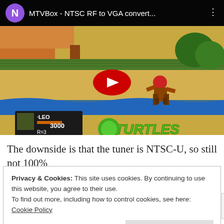[Figure (screenshot): YouTube video thumbnail showing a Teenage Mutant Ninja Turtles video game screenshot with a character on screen, LEO HUD with 3000 score and R=3, TURTLES logo bottom right. Video title: MTVBox - NTSC RF to VGA convert... with purple N avatar icon and play button overlay.]
The downside is that the tuner is NTSC-U, so still not 100%
Privacy & Cookies: This site uses cookies. By continuing to use this website, you agree to their use.
To find out more, including how to control cookies, see here: Cookie Policy